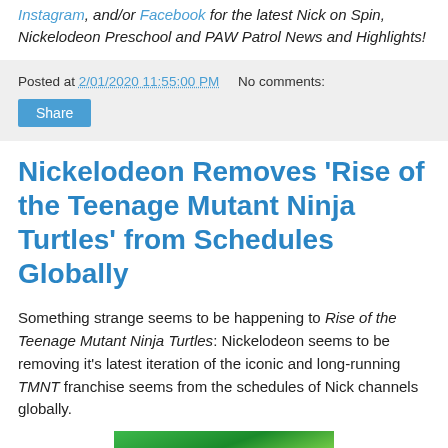Instagram, and/or Facebook for the latest Nick on Spin, Nickelodeon Preschool and PAW Patrol News and Highlights!
Posted at 2/01/2020 11:55:00 PM   No comments:
Share
Nickelodeon Removes 'Rise of the Teenage Mutant Ninja Turtles' from Schedules Globally
Something strange seems to be happening to Rise of the Teenage Mutant Ninja Turtles: Nickelodeon seems to be removing it's latest iteration of the iconic and long-running TMNT franchise seems from the schedules of Nick channels globally.
[Figure (photo): Rise of the Teenage Mutant Ninja Turtles promotional image with colorful logo and characters]